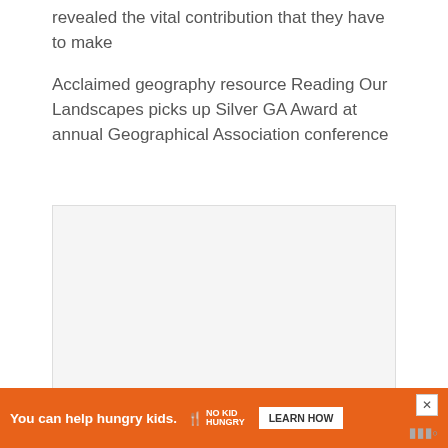revealed the vital contribution that they have to make
Acclaimed geography resource Reading Our Landscapes picks up Silver GA Award at annual Geographical Association conference
[Figure (other): Empty image placeholder box with light grey background and border]
[Figure (other): Orange advertisement banner: 'You can help hungry kids. NO KID HUNGRY LEARN HOW' with close button and watermark]